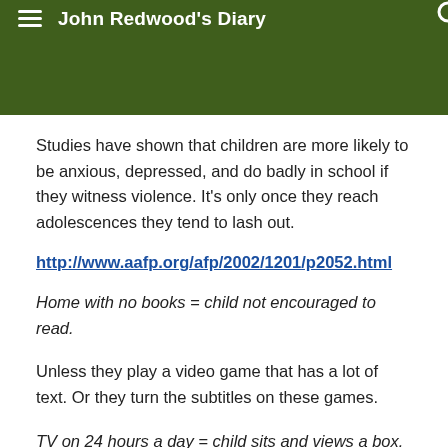John Redwood's Diary
Studies have shown that children are more likely to be anxious, depressed, and do badly in school if they witness violence. It's only once they reach adolescences they tend to lash out.
http://www.aafp.org/afp/2002/1201/p2052.html
Home with no books = child not encouraged to read.
Unless they play a video game that has a lot of text. Or they turn the subtitles on these games.
TV on 24 hours a day = child sits and views a box.